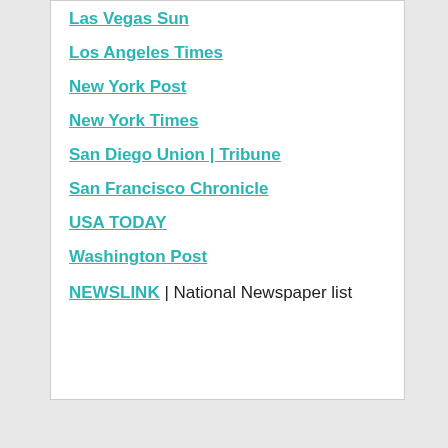Las Vegas Sun
Los Angeles Times
New York Post
New York Times
San Diego Union | Tribune
San Francisco Chronicle
USA TODAY
Washington Post
NEWSLINK | National Newspaper list